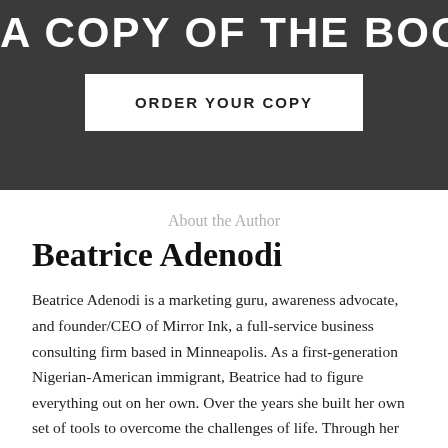A COPY OF THE BOOK NOW
ORDER YOUR COPY
About the Author
Beatrice Adenodi
Beatrice Adenodi is a marketing guru, awareness advocate, and founder/CEO of Mirror Ink, a full-service business consulting firm based in Minneapolis. As a first-generation Nigerian-American immigrant, Beatrice had to figure everything out on her own. Over the years she built her own set of tools to overcome the challenges of life. Through her